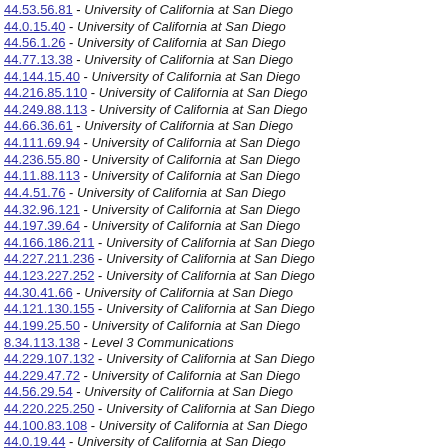44.53.56.81 - University of California at San Diego
44.0.15.40 - University of California at San Diego
44.56.1.26 - University of California at San Diego
44.77.13.38 - University of California at San Diego
44.144.15.40 - University of California at San Diego
44.216.85.110 - University of California at San Diego
44.249.88.113 - University of California at San Diego
44.66.36.61 - University of California at San Diego
44.111.69.94 - University of California at San Diego
44.236.55.80 - University of California at San Diego
44.11.88.113 - University of California at San Diego
44.4.51.76 - University of California at San Diego
44.32.96.121 - University of California at San Diego
44.197.39.64 - University of California at San Diego
44.166.186.211 - University of California at San Diego
44.227.211.236 - University of California at San Diego
44.123.227.252 - University of California at San Diego
44.30.41.66 - University of California at San Diego
44.121.130.155 - University of California at San Diego
44.199.25.50 - University of California at San Diego
8.34.113.138 - Level 3 Communications
44.229.107.132 - University of California at San Diego
44.229.47.72 - University of California at San Diego
44.56.29.54 - University of California at San Diego
44.220.225.250 - University of California at San Diego
44.100.83.108 - University of California at San Diego
44.0.19.44 - University of California at San Diego
44.76.56.81 - University of California at San Diego
44.143.151.176 - University of California at San Diego
44.62.54.79 - University of California at San Diego